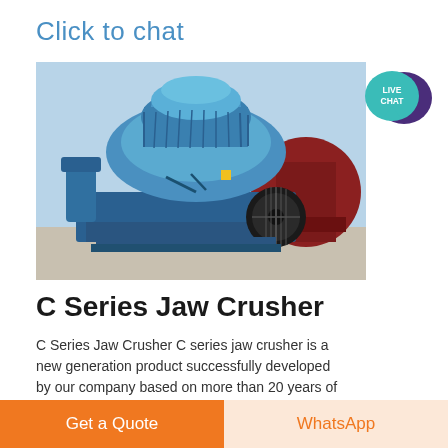Click to chat
[Figure (photo): Blue industrial cone/jaw crusher machine photographed outdoors at a facility. The machine is painted bright blue with large cylindrical crushing chamber on top, a pulley/belt drive wheel visible on the right side, and red equipment visible in the background.]
[Figure (logo): Live Chat speech bubble badge: teal/cyan circular bubble with text 'LIVE CHAT' in white, and a dark purple decorative chat bubble behind it.]
C Series Jaw Crusher
C Series Jaw Crusher C series jaw crusher is a new generation product successfully developed by our company based on more than 20 years of experience in producing
Get a Quote
WhatsApp